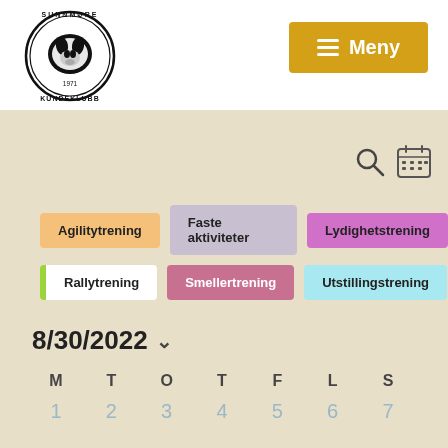[Figure (logo): Sunnmøre Hundeklubb circular logo with dog head illustration and year 1971]
≡ Meny
[Figure (infographic): Calendar filter interface with category buttons: Agilitytrening, Faste aktiviteter, Lydighetstrening, Rallytrening, Smellertrening, Utstillingstrening]
8/30/2022
| M | T | O | T | F | L | S |
| --- | --- | --- | --- | --- | --- | --- |
| 1 | 2 | 3 | 4 | 5 | 6 | 7 |